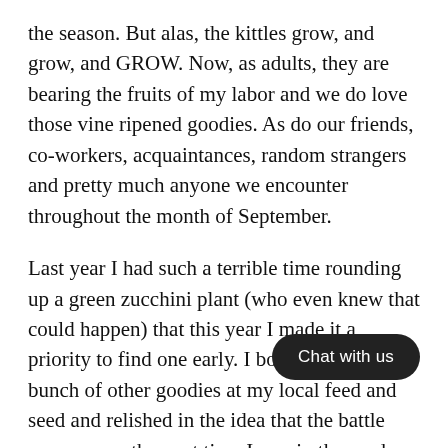the season. But alas, the kittles grow, and grow, and GROW. Now, as adults, they are bearing the fruits of my labor and we do love those vine ripened goodies. As do our friends, co-workers, acquaintances, random strangers and pretty much anyone we encounter throughout the month of September.
Last year I had such a terrible time rounding up a green zucchini plant (who even knew that could happen) that this year I made it a priority to find one early. I bought it and bunch of other goodies at my local feed and seed and relished in the idea that the battle was won so the next time I was in the seed and feed it was a total surprise to me tha[t I needed anot]her one (Good Lord! What was I thinkin[g?). But in] my defense, I bought the second one because somehow my